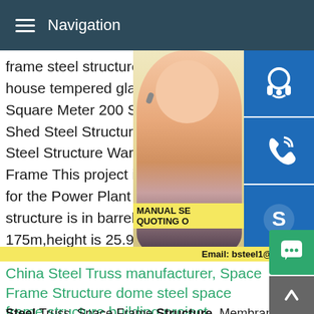Navigation
frame steel structure revolving restaurant house tempered glass roof function hall bu Square Meter 200 Square Meters (Min.Or Shed Steel Structure Warehouse Shed Do Steel Structure Warehouse Shed Prefabric Frame This project is about the space fra for the Power Plant in Batangas,Philippine structure is in barrel shell shape,full-width 175m,height is 25.957m,net span is 61m ,
[Figure (photo): Customer service representative woman wearing headset, with blue icon buttons (headset, phone, Skype) on the right side]
MANUAL SE QUOTING O Email: bsteel1@163.com
China Steel Truss manufacturer, Space Frame Structure dome steel space frame structure building project
Steel Truss, Space Frame Structure, Membrane Structure manufacturer / supplier in China, offering Prefab Steel Structu Architectural Gymnasium Space Frame Badminton Hall Struc